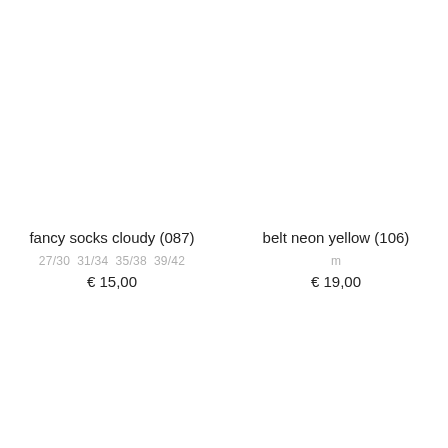fancy socks cloudy (087)
27/30  31/34  35/38  39/42
€ 15,00
belt neon yellow (106)
m
€ 19,00